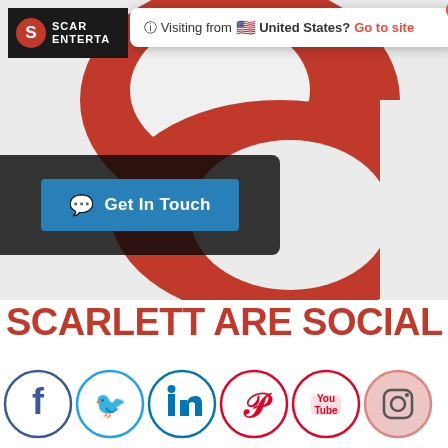[Figure (screenshot): Scarlett Entertainment website screenshot with red and white logo/hero image, notification bar saying 'Visiting from United States? Go to site', a dark overlay with blue Get In Touch button, SCARLETT ARE SOCIAL heading, and row of social media icons (Facebook, Twitter, LinkedIn, Pinterest, YouTube, Instagram)]